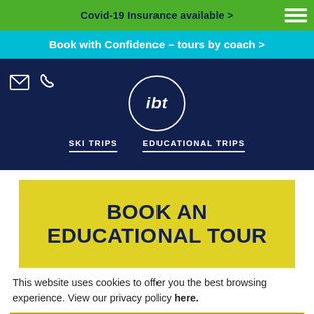Covid-19 Insurance available >
Book with Confidence – tours by coach >
[Figure (logo): IBT logo in white circle on dark navy background with SKI TRIPS and EDUCATIONAL TRIPS navigation links]
BOOK AN EDUCATIONAL TOUR
This website uses cookies to offer you the best browsing experience. View our privacy policy here.
OK